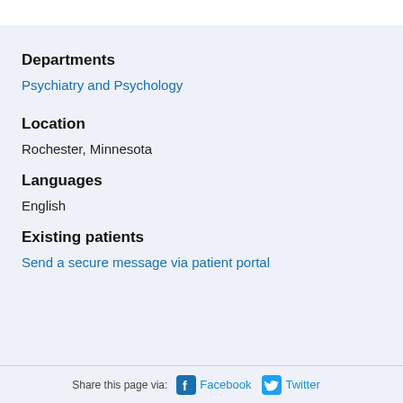Departments
Psychiatry and Psychology
Location
Rochester, Minnesota
Languages
English
Existing patients
Send a secure message via patient portal
Share this page via: Facebook Twitter